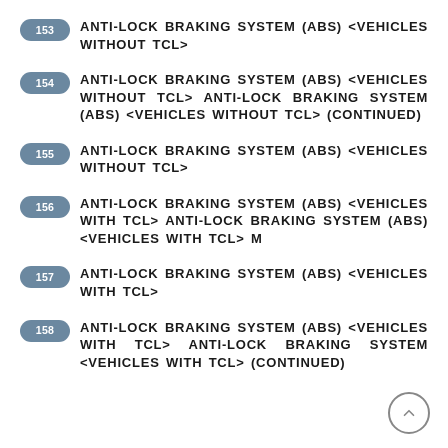153 ANTI-LOCK BRAKING SYSTEM (ABS) <VEHICLES WITHOUT TCL>
154 ANTI-LOCK BRAKING SYSTEM (ABS) <VEHICLES WITHOUT TCL> ANTI-LOCK BRAKING SYSTEM (ABS) <VEHICLES WITHOUT TCL> (CONTINUED)
155 ANTI-LOCK BRAKING SYSTEM (ABS) <VEHICLES WITHOUT TCL>
156 ANTI-LOCK BRAKING SYSTEM (ABS) <VEHICLES WITH TCL> ANTI-LOCK BRAKING SYSTEM (ABS) <VEHICLES WITH TCL> M
157 ANTI-LOCK BRAKING SYSTEM (ABS) <VEHICLES WITH TCL>
158 ANTI-LOCK BRAKING SYSTEM (ABS) <VEHICLES WITH TCL> ANTI-LOCK BRAKING SYSTEM <VEHICLES WITH TCL> (CONTINUED)